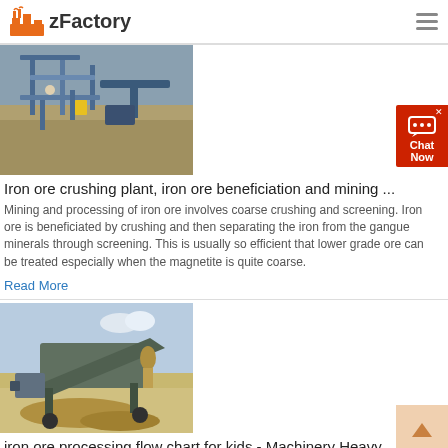zFactory
[Figure (photo): Aerial view of iron ore crushing plant with blue steel structure and conveyor belts]
Iron ore crushing plant, iron ore beneficiation and mining ...
Mining and processing of iron ore involves coarse crushing and screening. Iron ore is beneficiated by crushing and then separating the iron from the gangue minerals through screening. This is usually so efficient that lower grade ore can be treated especially when the magnetite is quite coarse.
Read More
[Figure (photo): Mobile iron ore processing screening machine on a construction/mining site, side view with material falling]
iron ore processing flow chart for kids - Machinery Heavy ...